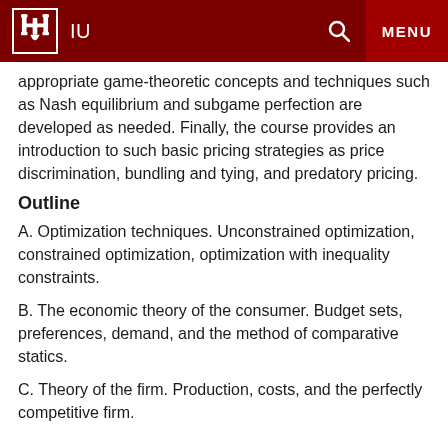IU  [search] MENU
appropriate game-theoretic concepts and techniques such as Nash equilibrium and subgame perfection are developed as needed. Finally, the course provides an introduction to such basic pricing strategies as price discrimination, bundling and tying, and predatory pricing.
Outline
A. Optimization techniques. Unconstrained optimization, constrained optimization, optimization with inequality constraints.
B. The economic theory of the consumer. Budget sets, preferences, demand, and the method of comparative statics.
C. Theory of the firm. Production, costs, and the perfectly competitive firm.